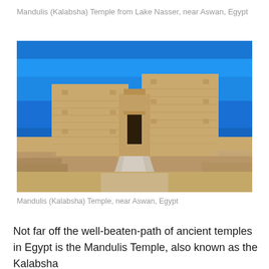Mandulis (Kalabsha) Temple from Lake Nasser, near Aswan, Egypt
[Figure (photo): Photograph of the Mandulis (Kalabsha) Temple viewed from below, showing the large sandstone pylon facade against a bright blue sky, with a stone causeway/ramp leading up to the entrance doorway, and stepped masonry walls on either side.]
Mandulis (Kalabsha) Temple, near Aswan, Egypt
Not far off the well-beaten-path of ancient temples in Egypt is the Mandulis Temple, also known as the Kalabsha